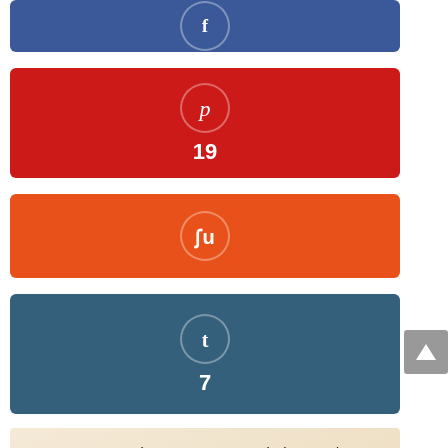[Figure (infographic): Facebook social share button bar (blue) with 'f' icon]
[Figure (infographic): Pinterest social share button bar (red) with Pinterest 'p' icon and count 19]
[Figure (infographic): StumbleUpon social share button bar (orange) with StumbleUpon icon]
[Figure (infographic): Tumblr social share button bar (dark blue) with 't' icon and count 7]
[Figure (infographic): Scroll-to-top grey button with upward arrow]
[Figure (illustration): Advertisement image: 'Want to improve your writing and learn to stay focused? HIRE A PROFESSIONAL' on typewriter-style background]